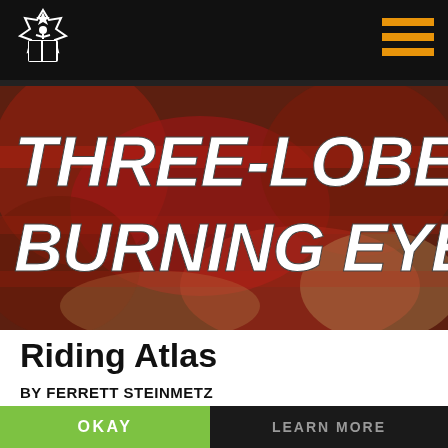Three-Lobed Burning Eye (navigation header)
[Figure (logo): Three-Lobed Burning Eye publication logo — white stylized mascot figure on black background]
[Figure (illustration): Hero banner image with red and brown textured background with large white bold distressed text reading THREE-LOBED BURNING EYE]
Riding Atlas
BY FERRETT STEINMETZ
4963 WORDS
We use cookies for your best experience.
OKAY
LEARN MORE